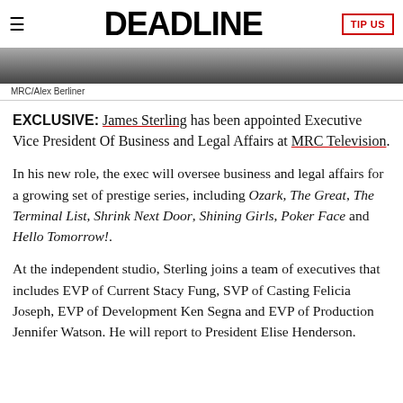DEADLINE  TIP US
[Figure (photo): Cropped photo of a man in a dark suit, bottom portion of face visible, gray background]
MRC/Alex Berliner
EXCLUSIVE: James Sterling has been appointed Executive Vice President Of Business and Legal Affairs at MRC Television.
In his new role, the exec will oversee business and legal affairs for a growing set of prestige series, including Ozark, The Great, The Terminal List, Shrink Next Door, Shining Girls, Poker Face and Hello Tomorrow!.
At the independent studio, Sterling joins a team of executives that includes EVP of Current Stacy Fung, SVP of Casting Felicia Joseph, EVP of Development Ken Segna and EVP of Production Jennifer Watson. He will report to President Elise Henderson.